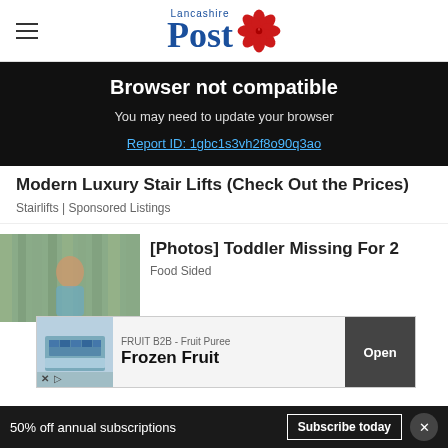Lancashire Post
Browser not compatible
You may need to update your browser
Report ID: 1gbc1s3vh2f8o90q3ao
Modern Luxury Stair Lifts (Check Out the Prices)
Stairlifts | Sponsored Listings
[Figure (photo): Photo of a child/toddler outdoors]
[Photos] Toddler Missing For 2
Food Sided
[Figure (infographic): Advertisement banner: FRUIT B2B - Fruit Puree, Frozen Fruit, Open button]
50% off annual subscriptions
Subscribe today